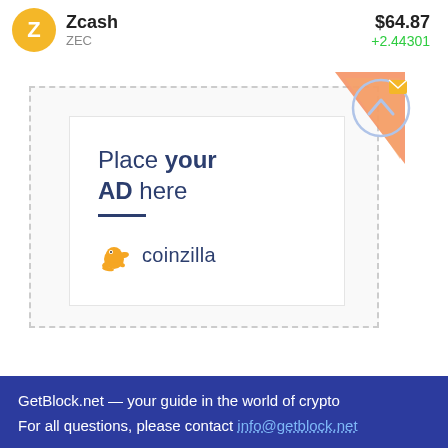Zcash ZEC $64.87 +2.44301
[Figure (other): Coinzilla advertisement placeholder showing orange triangle graphic, 'Place your AD here' text with dark blue underline, and Coinzilla logo with orange gecko mascot]
GetBlock.net — your guide in the world of crypto
For all questions, please contact info@getblock.net